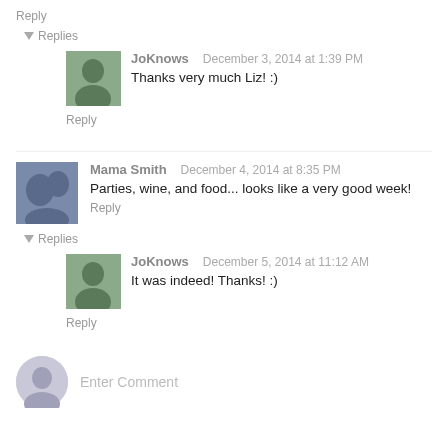Reply
▾ Replies
JoKnows   December 3, 2014 at 1:39 PM
Thanks very much Liz! :)
Reply
Mama Smith   December 4, 2014 at 8:35 PM
Parties, wine, and food... looks like a very good week!
Reply
▾ Replies
JoKnows   December 5, 2014 at 11:12 AM
It was indeed! Thanks! :)
Reply
Enter Comment